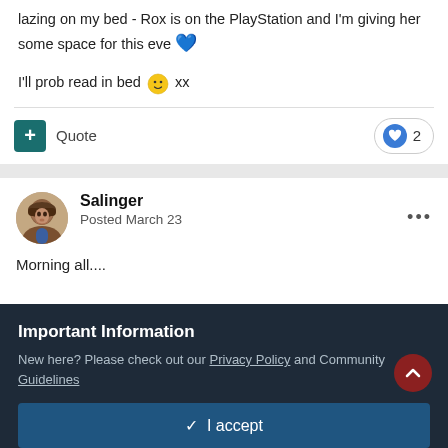lazing on my bed - Rox is on the PlayStation and I'm giving her some space for this eve 💙
I'll prob read in bed 🙂 xx
Quote
2
Salinger
Posted March 23
Morning all....
Important Information
New here? Please check out our Privacy Policy and Community Guidelines
✓  I accept